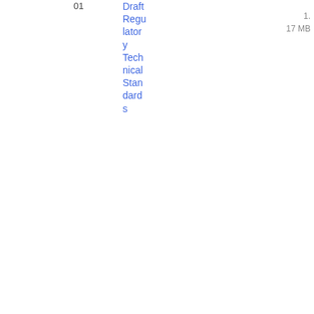| Date | Reference | Title | Tags | File |
| --- | --- | --- | --- | --- |
| [cut off] | [cut off] 01 | Draft Regulatory Technical Standards | Standards | 1.
17 MB |
| 13/05/2022 | JC 2022 26 | SFDR queries forwarded to the Commission | Joint Committee Q&A
Sustainable finance | PDF
13
2.33 KB |